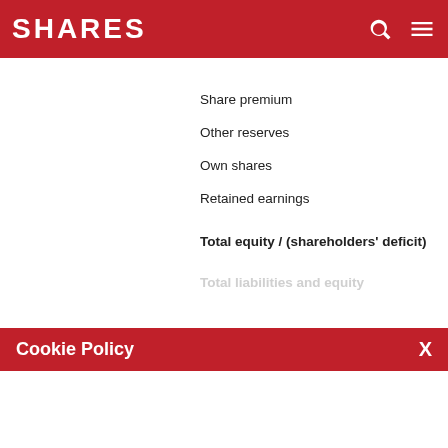SHARES
Share premium
Other reserves
Own shares
Retained earnings
Total equity / (shareholders' deficit)
Total liabilities and equity
Cookie Policy
We use cookies to ensure that we give you the best experience on our website. If you continue without changing your settings, we'll assume that you are happy to receive all cookies from this website. If you would like to change your preferences you may do so by following the instructions here.
Balance at 1 January 2020